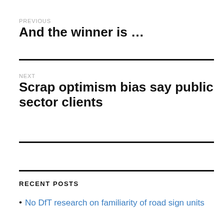PREVIOUS
And the winner is …
NEXT
Scrap optimism bias say public sector clients
RECENT POSTS
No DfT research on familiarity of road sign units